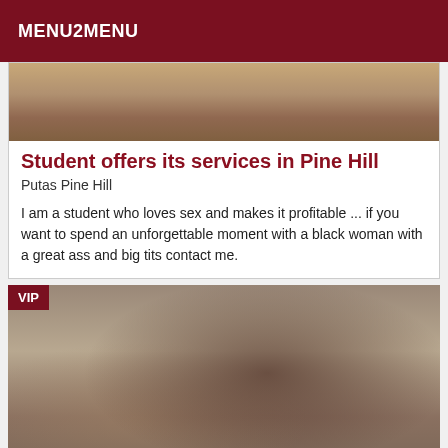MENU2MENU
[Figure (photo): Top portion of a photo, cropped, showing skin tones and dark background]
Student offers its services in Pine Hill
Putas Pine Hill
I am a student who loves sex and makes it profitable ... if you want to spend an unforgettable moment with a black woman with a great ass and big tits contact me.
[Figure (photo): Photo of a woman seen from behind with long reddish-brown hair, wearing dark clothing, in a room with a fan and shelving visible. VIP badge in top left corner.]